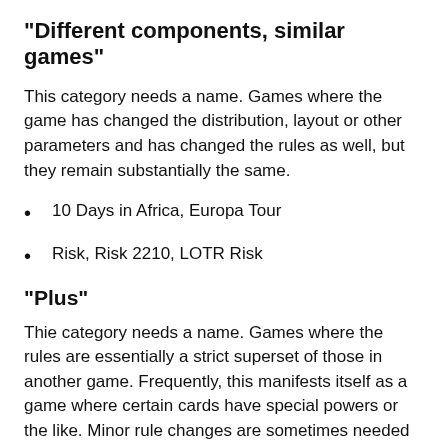"Different components, similar games"
This category needs a name. Games where the game has changed the distribution, layout or other parameters and has changed the rules as well, but they remain substantially the same.
10 Days in Africa, Europa Tour
Risk, Risk 2210, LOTR Risk
"Plus"
Thie category needs a name. Games where the rules are essentially a strict superset of those in another game. Frequently, this manifests itself as a game where certain cards have special powers or the like. Minor rule changes are sometimes needed to accomodate these additions.